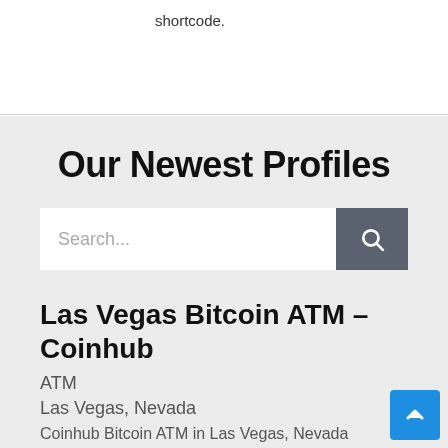shortcode.
Our Newest Profiles
[Figure (screenshot): Search bar with placeholder text 'Search...' and a dark grey search button with magnifying glass icon]
Las Vegas Bitcoin ATM – Coinhub
ATM
Las Vegas, Nevada
Coinhub Bitcoin ATM in Las Vegas, Nevada